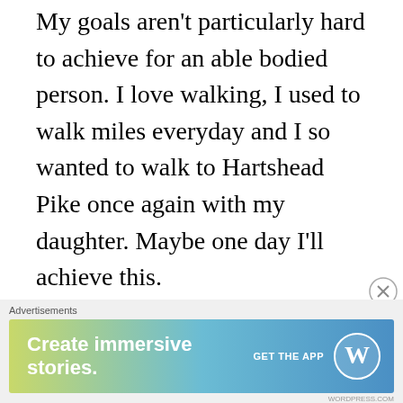My goals aren't particularly hard to achieve for an able bodied person. I love walking, I used to walk miles everyday and I so wanted to walk to Hartshead Pike once again with my daughter. Maybe one day I'll achieve this.
Luckily I think that my antibiotics have started to work and my sats are much better than they were. Not perfect, far from it but acceptable for both myself and my doctor and consultant.
I know that the Covid 19 virus has damaged my lungs, especially my right lung and I have to accept that I'm more vulnerable to getting
[Figure (screenshot): WordPress advertisement banner: 'Create immersive stories. GET THE APP' with WordPress logo on a gradient blue-green background. Labeled 'Advertisements' above.]